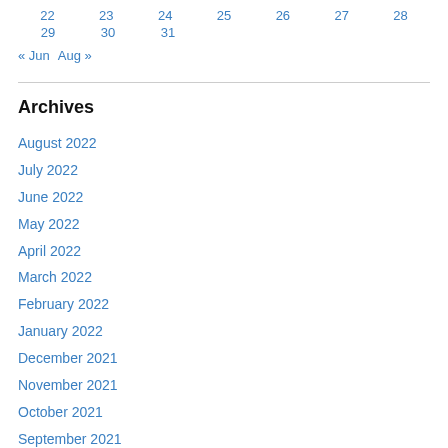| 22 | 23 | 24 | 25 | 26 | 27 | 28 |
| 29 | 30 | 31 |  |  |  |  |
« Jun   Aug »
Archives
August 2022
July 2022
June 2022
May 2022
April 2022
March 2022
February 2022
January 2022
December 2021
November 2021
October 2021
September 2021
August 2021